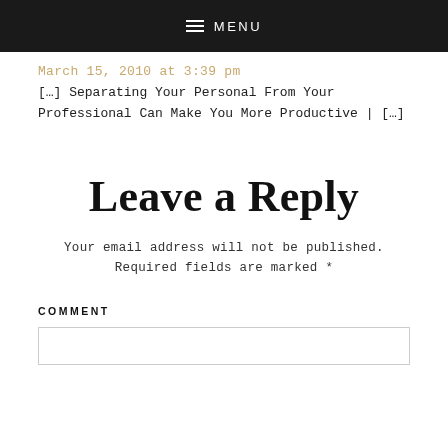MENU
March 15, 2010 at 3:39 pm
[…] Separating Your Personal From Your Professional Can Make You More Productive | […]
Leave a Reply
Your email address will not be published. Required fields are marked *
COMMENT